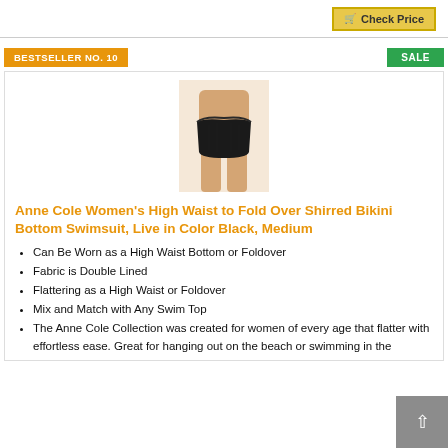[Figure (screenshot): Check Price button with cart icon at top right of page]
BESTSELLER NO. 10
SALE
[Figure (photo): Woman wearing black high waist bikini bottom swimsuit]
Anne Cole Women's High Waist to Fold Over Shirred Bikini Bottom Swimsuit, Live in Color Black, Medium
Can Be Worn as a High Waist Bottom or Foldover
Fabric is Double Lined
Flattering as a High Waist or Foldover
Mix and Match with Any Swim Top
The Anne Cole Collection was created for women of every age that flatter with effortless ease. Great for hanging out on the beach or swimming in the